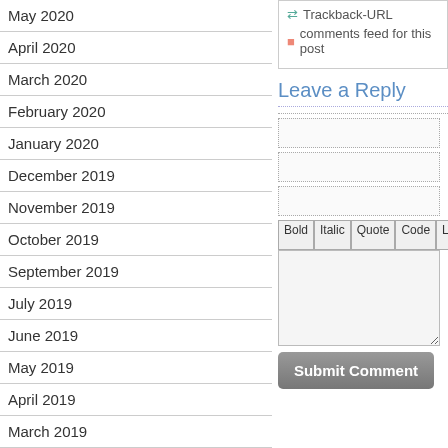May 2020
April 2020
March 2020
February 2020
January 2020
December 2019
November 2019
October 2019
September 2019
July 2019
June 2019
May 2019
April 2019
March 2019
February 2019
January 2019
November 2018
October 2018
September 2018
August 2018
Trackback-URL
comments feed for this post
Leave a Reply